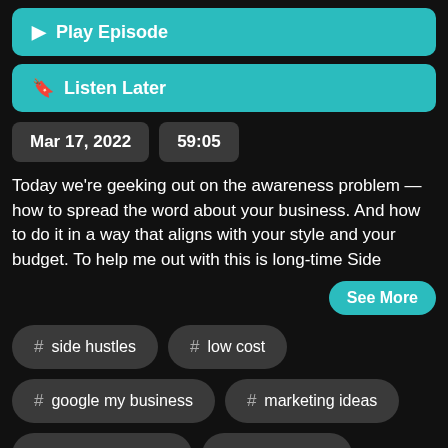▶ Play Episode
🔖 Listen Later
Mar 17, 2022
59:05
Today we're geeking out on the awareness problem — how to spread the word about your business. And how to do it in a way that aligns with your style and your budget. To help me out with this is long-time Side
See More
# side hustles
# low cost
# google my business
# marketing ideas
# side hustle show
# north atlanta